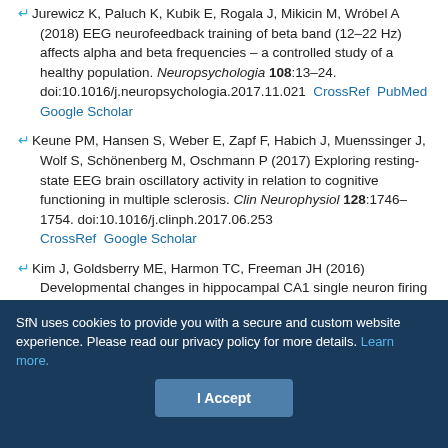Jurewicz K, Paluch K, Kubik E, Rogala J, Mikicin M, Wróbel A (2018) EEG neurofeedback training of beta band (12–22 Hz) affects alpha and beta frequencies – a controlled study of a healthy population. Neuropsychologia 108:13–24. doi:10.1016/j.neuropsychologia.2017.11.021  CrossRef  PubMed  Google Scholar
Keune PM, Hansen S, Weber E, Zapf F, Habich J, Muenssinger J, Wolf S, Schönenberg M, Oschmann P (2017) Exploring resting-state EEG brain oscillatory activity in relation to cognitive functioning in multiple sclerosis. Clin Neurophysiol 128:1746–1754. doi:10.1016/j.clinph.2017.06.253  CrossRef  Google Scholar
Kim J, Goldsberry ME, Harmon TC, Freeman JH (2016) Developmental changes in hippocampal CA1 single neuron firing and theta activity during associative learning. PLoS One 11:e0164781. doi:10.1371/journal.pone.0164781  CrossRef  Google Scholar
SfN uses cookies to provide you with a secure and custom website experience. Please read our privacy policy for more details. Learn more.